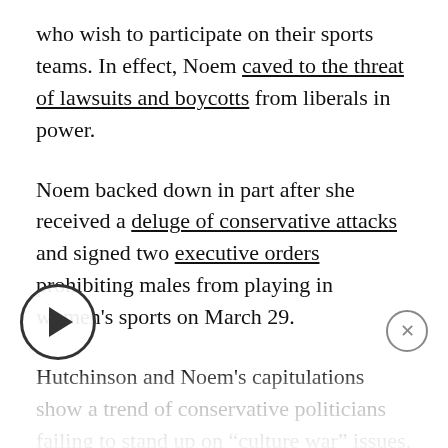who wish to participate on their sports teams. In effect, Noem caved to the threat of lawsuits and boycotts from liberals in power.
Noem backed down in part after she received a deluge of conservative attacks and signed two executive orders prohibiting males from playing in women's sports on March 29.
Hutchinson and Noem's capitulations show a trend of conservative politicians failing to stand up on “culture war” issues. But failing that culture war test will become increasingly lethal for conservative politicians as wokeism grows even more at odds with traditional values and asserts